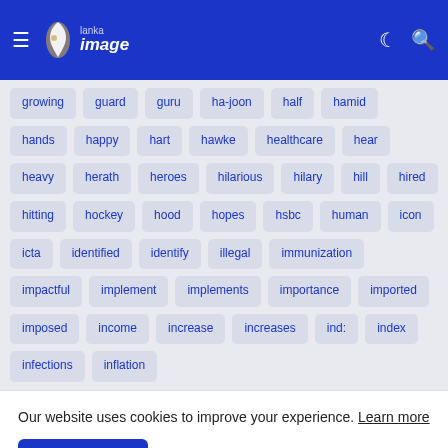Lanka Image navigation header
growing, guard, guru, ha-joon, half, hamid, hands, happy, hart, hawke, healthcare, hear, heavy, herath, heroes, hilarious, hilary, hill, hired, hitting, hockey, hood, hopes, hsbc, human, icon, icta, identified, identify, illegal, immunization, impactful, implement, implements, importance, imported, imposed, income, increase, increases, ind:, index, infections, inflation
Our website uses cookies to improve your experience. Learn more
Accept !